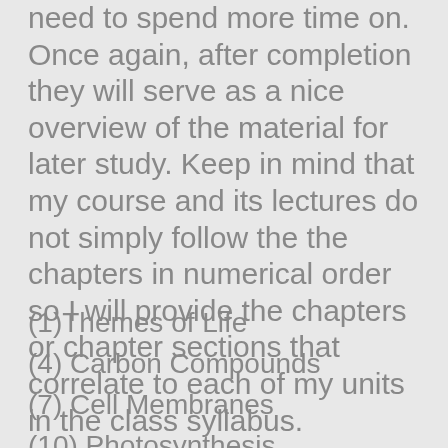need to spend more time on. Once again, after completion they will serve as a nice overview of the material for later study. Keep in mind that my course and its lectures do not simply follow the the chapters in numerical order so I will provide the chapters or chapter sections that correlate to each of my units in the class syllabus.
(1)Themes of Life
(4) Carbon Compounds
(7) Cell Membranes
(10) Photosynthesis
(13) Meiosis